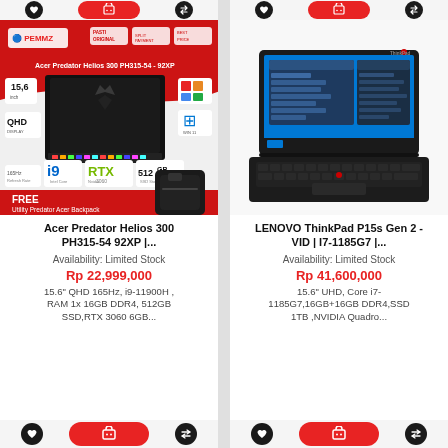[Figure (screenshot): Top action bar with heart, cart, shuffle buttons for left product]
[Figure (screenshot): Top action bar with heart, cart, shuffle buttons for right product]
[Figure (photo): Acer Predator Helios 300 PH315-54 laptop product image with PEMMZ branding, i9, RTX 3060, 512GB, QHD, 165Hz specs shown, free backpack offer]
[Figure (photo): Lenovo ThinkPad P15s Gen 2 laptop product photo on white background]
Acer Predator Helios 300 PH315-54 92XP |...
LENOVO ThinkPad P15s Gen 2 - VID | I7-1185G7 |...
Availability: Limited Stock
Availability: Limited Stock
Rp 22,999,000
Rp 41,600,000
15.6" QHD 165Hz, i9-11900H , RAM 1x 16GB DDR4, 512GB SSD,RTX 3060 6GB...
15.6" UHD, Core i7-1185G7,16GB+16GB DDR4,SSD 1TB ,NVIDIA Quadro...
[Figure (screenshot): Bottom action bar with heart, cart, shuffle buttons for left product]
[Figure (screenshot): Bottom action bar with heart, cart, shuffle buttons for right product]